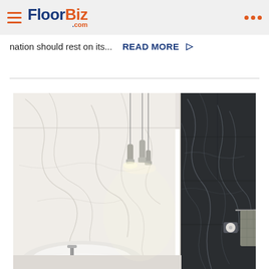FloorBiz.com
nation should rest on its...  READ MORE ▷
[Figure (photo): Luxury bathroom interior with white marble tile walls on the left side and dark charcoal/black marble tile walls on the right side. A freestanding white bathtub is in the lower left, pendant lights hang from the ceiling in the center, a towel bar with a grey towel is in the middle background, and a toilet with a toilet paper holder is on the right side.]